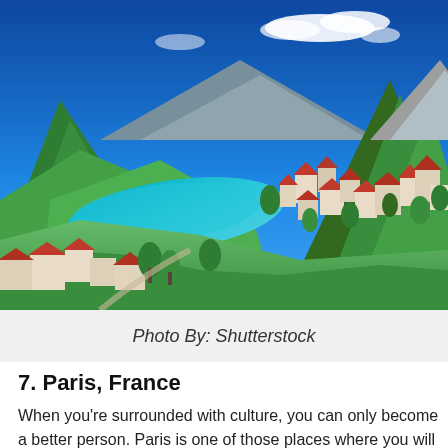[Figure (photo): Aerial view of a picturesque village with orange-roofed buildings nestled beside a turquoise lake surrounded by green mountains and lush vegetation under a bright blue sky with white clouds.]
Photo By: Shutterstock
7. Paris, France
When you're surrounded with culture, you can only become a better person. Paris is one of those places where you will